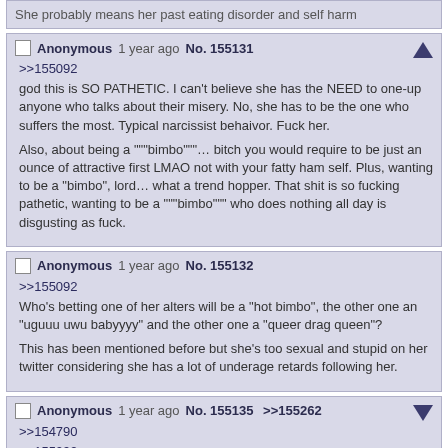She probably means her past eating disorder and self harm
Anonymous 1 year ago No. 155131
>>155092
god this is SO PATHETIC. I can't believe she has the NEED to one-up anyone who talks about their misery. No, she has to be the one who suffers the most. Typical narcissist behaivor. Fuck her.

Also, about being a """bimbo"""… bitch you would require to be just an ounce of attractive first LMAO not with your fatty ham self. Plus, wanting to be a "bimbo", lord… what a trend hopper. That shit is so fucking pathetic, wanting to be a """bimbo""" who does nothing all day is disgusting as fuck.
Anonymous 1 year ago No. 155132
>>155092
Who's betting one of her alters will be a "hot bimbo", the other one an "uguuu uwu babyyyy" and the other one a "queer drag queen"?
This has been mentioned before but she's too sexual and stupid on her twitter considering she has a lot of underage retards following her.
Anonymous 1 year ago No. 155135 >>155262
>>154790
>>155092
Not separating this personal bullshit from her business or